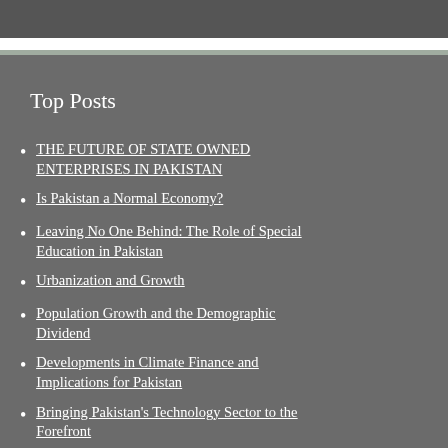Top Posts
THE FUTURE OF STATE OWNED ENTERPRISES IN PAKISTAN
Is Pakistan a Normal Economy?
Leaving No One Behind: The Role of Special Education in Pakistan
Urbanization and Growth
Population Growth and the Demographic Dividend
Developments in Climate Finance and Implications for Pakistan
Bringing Pakistan's Technology Sector to the Forefront
Digital Transformation of Lower Middle-